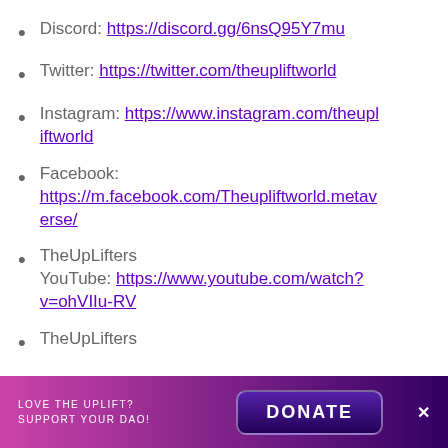Discord: https://discord.gg/6nsQ95Y7mu
Twitter: https://twitter.com/theupliftworld
Instagram: https://www.instagram.com/theupliftworld
Facebook:
https://m.facebook.com/Theupliftworld.metaverse/
TheUpLifters YouTube: https://www.youtube.com/watch?v=ohVIIu-RV
TheUpLifters
LOVE THE UPLIFT? SUPPORT YOUR DAO! DONATE